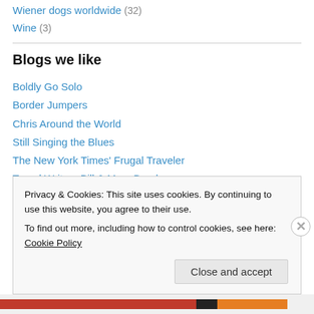Wiener dogs worldwide (32)
Wine (3)
Blogs we like
Boldly Go Solo
Border Jumpers
Chris Around the World
Still Singing the Blues
The New York Times' Frugal Traveler
Travel Writers Bill & Mary Burnham
Travels with Hilary
World Hum
Privacy & Cookies: This site uses cookies. By continuing to use this website, you agree to their use. To find out more, including how to control cookies, see here: Cookie Policy